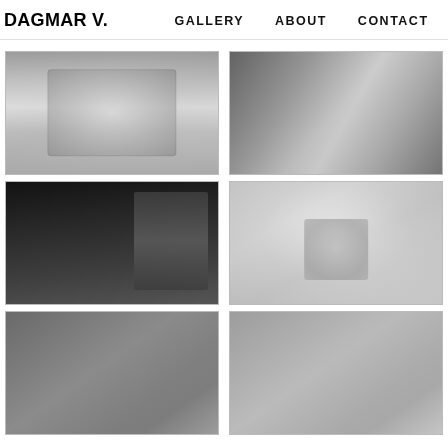DAGMAR V.   GALLERY   ABOUT   CONTACT
[Figure (photo): Black and white photo of a person's torso with a large ornate mandala/geometric chest tattoo with wing-like elements]
[Figure (photo): Dark colored photo showing a tattoo on a side/rib area depicting a figure in clouds with birds, possibly a fairytale scene]
[Figure (photo): Black and white photo of a woman in a black top showing a heavily tattooed arm sleeve with intricate designs including a face and floral elements]
[Figure (photo): Light toned photo of a chest/sternum tattoo with mandala/geometric design, partially pixelated for censorship]
[Figure (photo): Partially visible tattoo photo at bottom left, cropped]
[Figure (photo): Partially visible tattoo photo at bottom right, cropped]